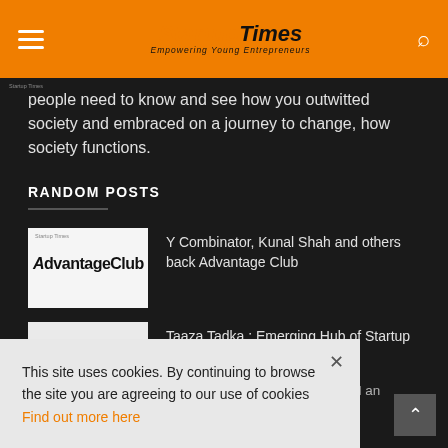Startup Times — Empowering Young Entrepreneurs
people need to know and see how you outwitted society and embraced on a journey to change, how society functions.
RANDOM POSTS
Y Combinator, Kunal Shah and others back Advantage Club
Taaza Tadka : Emerging Hub of Startup Stories
Know the difference between a CEO and an entrepreneur
This site uses cookies. By continuing to browse the site you are agreeing to our use of cookies Find out more here